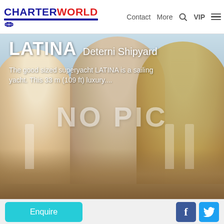CHARTERWORLD  Contact  More  VIP
LATINA Deterni Shipyard
The good sized superyacht LATINA is a sailing yacht. This 33 m (109 ft) luxury....
[Figure (photo): Photo of three people dining at an outdoor table by the sea, with wine glasses and sushi. Overlaid with large faint text NO PIC indicating no actual yacht photo is available.]
Enquire
f
🐦